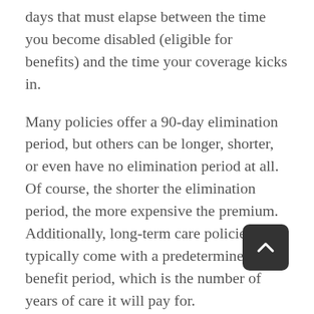days that must elapse between the time you become disabled (eligible for benefits) and the time your coverage kicks in.

Many policies offer a 90-day elimination period, but others can be longer, shorter, or even have no elimination period at all. Of course, the shorter the elimination period, the more expensive the premium. Additionally, long-term care policies typically come with a predetermined benefit period, which is the number of years of care it will pay for.

For example, a benefit period of three to five years is a quite common duration for such policies. Most policies also come with a cap on